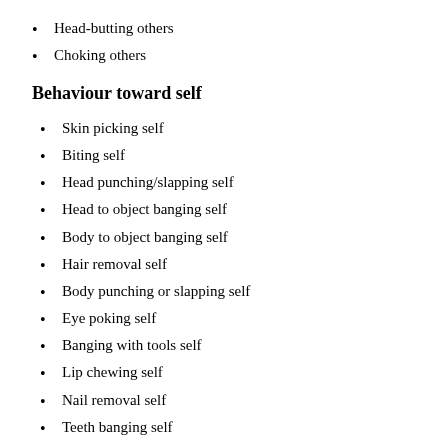Head-butting others
Choking others
Behaviour toward self
Skin picking self
Biting self
Head punching/slapping self
Head to object banging self
Body to object banging self
Hair removal self
Body punching or slapping self
Eye poking self
Banging with tools self
Lip chewing self
Nail removal self
Teeth banging self